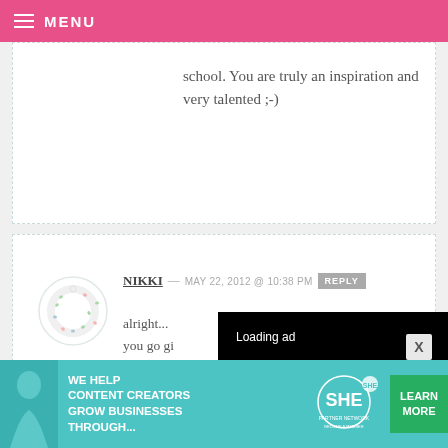MENU
school. You are truly an inspiration and very talented ;-)
NIKKI — MAY 22, 2012 @ 10:38 PM  REPLY
alright... you go gi... like I say... commen...
[Figure (screenshot): Loading ad overlay with spinner and media controls (pause, fullscreen, mute) on black background]
[Figure (infographic): Bottom banner ad: WE HELP CONTENT CREATORS GROW BUSINESSES THROUGH... SHE PARTNER NETWORK BECOME A MEMBER. LEARN MORE button.]